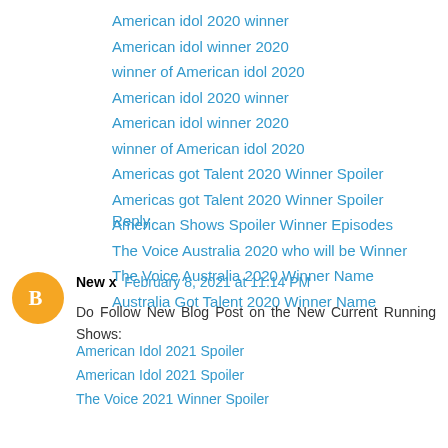American idol 2020 winner
American idol winner 2020
winner of American idol 2020
American idol 2020 winner
American idol winner 2020
winner of American idol 2020
Americas got Talent 2020 Winner Spoiler
Americas got Talent 2020 Winner Spoiler
American Shows Spoiler Winner Episodes
The Voice Australia 2020 who will be Winner
The Voice Australia 2020 Winner Name
Australia Got Talent 2020 Winner Name
Reply
New x  February 8, 2021 at 11:14 PM
Do Follow New Blog Post on the New Current Running Shows:
American Idol 2021 Spoiler
American Idol 2021 Spoiler
The Voice 2021 Winner Spoiler